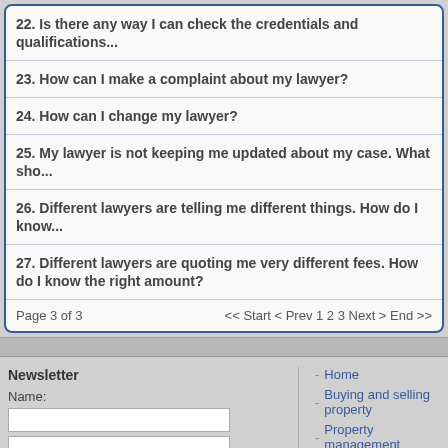22. Is there any way I can check the credentials and qualifications...
23. How can I make a complaint about my lawyer?
24. How can I change my lawyer?
25. My lawyer is not keeping me updated about my case. What sho...
26. Different lawyers are telling me different things. How do I know...
27. Different lawyers are quoting me very different fees. How do I know the right amount?
Page 3 of 3   << Start < Prev 1 2 3 Next > End >>
Newsletter
Name:
Home
Buying and selling property
Property management
Taxes, fees, accounts
FAQ
Contacts
www.property-in-bulgaria.bg | All rights reserved